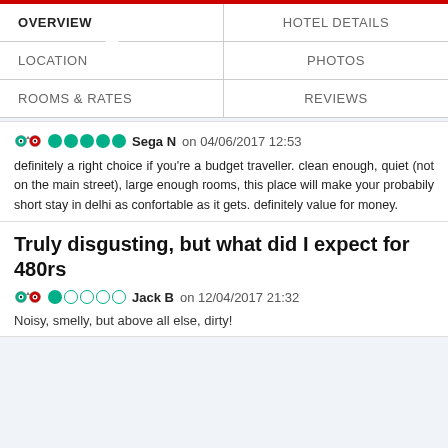OVERVIEW | HOTEL DETAILS | PHOTOS | LOCATION | REVIEWS | ROOMS & RATES
definitely a right choice if you're a budget traveller. clean enough, quiet (not on the main street), large enough rooms, this place will make your probabily short stay in delhi as confortable as it gets. definitely value for money.
Truly disgusting, but what did I expect for 480rs
Noisy, smelly, but above all else, dirty!